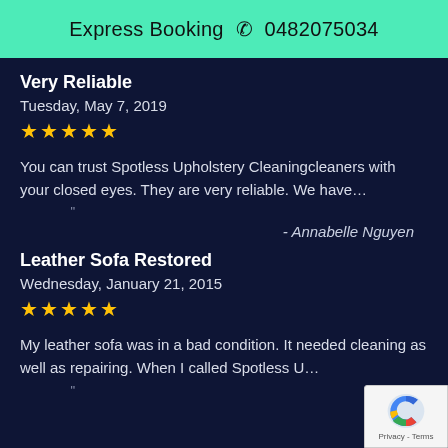Express Booking 📞 0482075034
Very Reliable
Tuesday, May 7, 2019
★★★★★
You can trust Spotless Upholstery Cleaningcleaners with your closed eyes. They are very reliable. We have…
- Annabelle Nguyen
Leather Sofa Restored
Wednesday, January 21, 2015
★★★★★
My leather sofa was in a bad condition. It needed cleaning as well as repairing. When I called Spotless U…